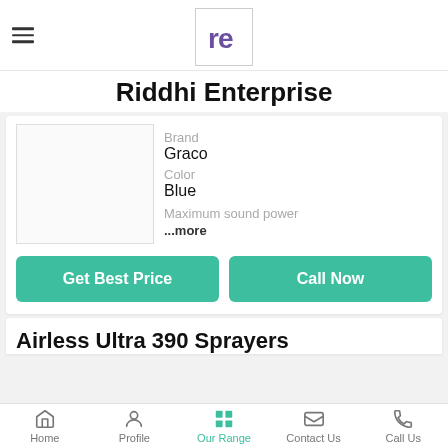[Figure (logo): Riddhi Enterprise logo — stylized 're' letters in purple on white background with border]
Riddhi Enterprise
Brand
Graco

Color
Blue

Maximum sound power
...more
Get Best Price
Call Now
Airless Ultra 390 Sprayers
Home   Profile   Our Range   Contact Us   Call Us